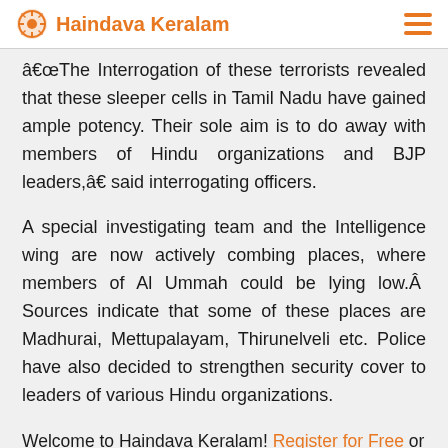Haindava Keralam
â€œThe Interrogation of these terrorists revealed that these sleeper cells in Tamil Nadu have gained ample potency. Their sole aim is to do away with members of Hindu organizations and BJP leaders,â€ said interrogating officers.
A special investigating team and the Intelligence wing are now actively combing places, where members of Al Ummah could be lying low.Â  Sources indicate that some of these places are Madhurai, Mettupalayam, Thirunelveli etc. Police have also decided to strengthen security cover to leaders of various Hindu organizations.
Welcome to Haindava Keralam! Register for Free or Login as a privileged HK member to enjoy auto-approval of your comments and to